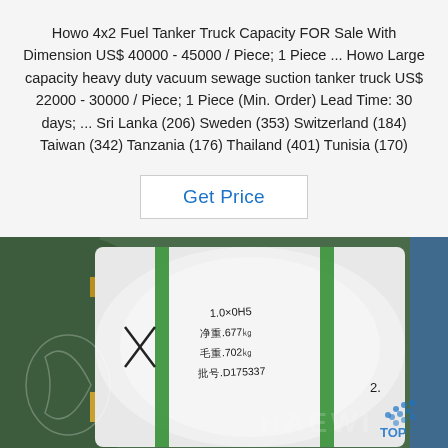Howo 4x2 Fuel Tanker Truck Capacity FOR Sale With Dimension US$ 40000 - 45000 / Piece; 1 Piece ... Howo Large capacity heavy duty vacuum sewage suction tanker truck US$ 22000 - 30000 / Piece; 1 Piece (Min. Order) Lead Time: 30 days; ... Sri Lanka (206) Sweden (353) Switzerland (184) Taiwan (342) Tanzania (176) Thailand (401) Tunisia (170)
[Figure (other): Button labeled 'Get Price' in blue text with a light gray border on white background]
[Figure (photo): Photo of large white-wrapped industrial coils/rolls with green strapping, with handwritten Chinese text on labels showing weights and batch number. Watermark text 'TOP' visible with dotted logo in bottom right.]